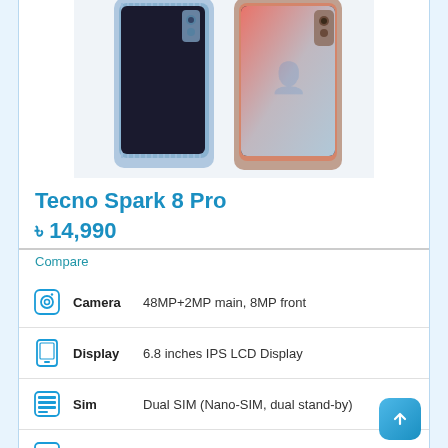[Figure (photo): Tecno Spark 8 Pro smartphone shown from the back in two color variants (blue and pink/rose gold), side by side]
Tecno Spark 8 Pro
৳ 14,990
Compare
Camera: 48MP+2MP main, 8MP front
Display: 6.8 inches IPS LCD Display
Sim: Dual SIM (Nano-SIM, dual stand-by)
OS: Android 11, HIOS 7.6
Chipset: MediaTek Helio G85 (12nm)